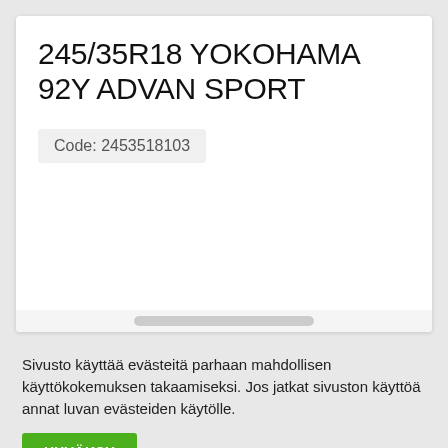245/35R18 YOKOHAMA 92Y ADVAN SPORT
Code: 2453518103
Sivusto käyttää evästeitä parhaan mahdollisen käyttökokemuksen takaamiseksi. Jos jatkat sivuston käyttöä annat luvan evästeiden käytölle.
HYVÄKSY